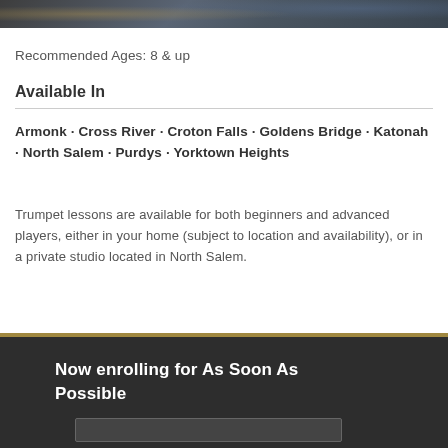[Figure (photo): Partial photo strip at top of page showing musicians or music-related imagery with dark tones]
Recommended Ages: 8 & up
Available In
Armonk · Cross River · Croton Falls · Goldens Bridge · Katonah · North Salem · Purdys · Yorktown Heights
Trumpet lessons are available for both beginners and advanced players, either in your home (subject to location and availability), or in a private studio located in North Salem.
Now enrolling for As Soon As Possible